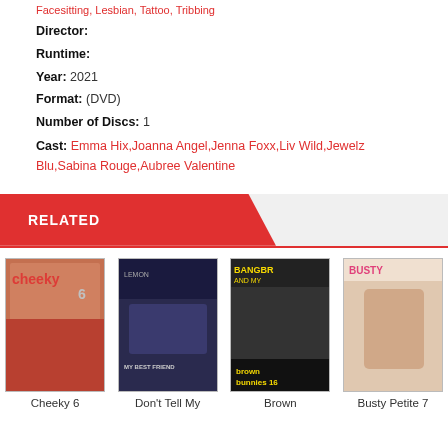Facesitting, Lesbian, Tattoo, Tribbing
Director:
Runtime:
Year: 2021
Format: (DVD)
Number of Discs: 1
Cast: Emma Hix, Joanna Angel, Jenna Foxx, Liv Wild, Jewelz Blu, Sabina Rouge, Aubree Valentine
RELATED
[Figure (photo): Cheeky 6 DVD cover thumbnail]
[Figure (photo): Don't Tell My DVD cover thumbnail]
[Figure (photo): Brown Bunnies 16 DVD cover thumbnail]
[Figure (photo): Busty Petite 7 DVD cover thumbnail]
Cheeky 6
Don't Tell My
Brown
Busty Petite 7